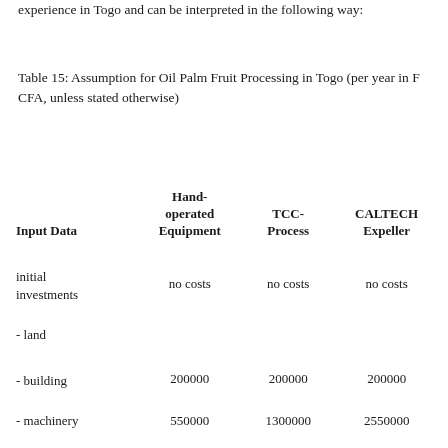experience in Togo and can be interpreted in the following way:
Table 15: Assumption for Oil Palm Fruit Processing in Togo (per year in F CFA, unless stated otherwise)
| Input Data | Hand-operated Equipment | TCC-Process | CALTECH Expeller |
| --- | --- | --- | --- |
| initial investments | no costs | no costs | no costs |
| - land |  |  |  |
| - building | 200000 | 200000 | 200000 |
| - machinery | 550000 | 1300000 | 2550000 |